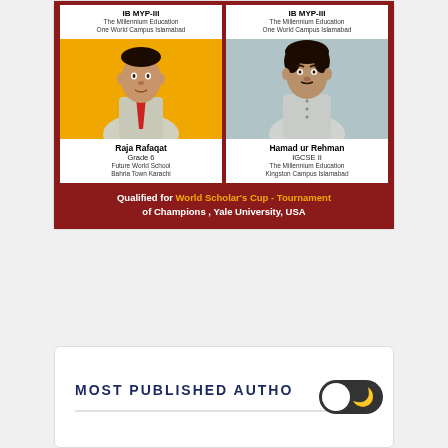[Figure (infographic): Promotional infographic showing two students who qualified for World Scholar's Cup - Tournament of Champions, Yale University, USA. Left: Raja Rafaqat, Grade 6, Future World School Bahria Town Karachi. Right: Hamad ur Rehman, IGCSE II, The Millennium Education Kingston Campus Islamabad. Top labels show IB MYP-III, The Millennium Education One World Campus Islamabad for both.]
MOST PUBLISHED AUTHO...